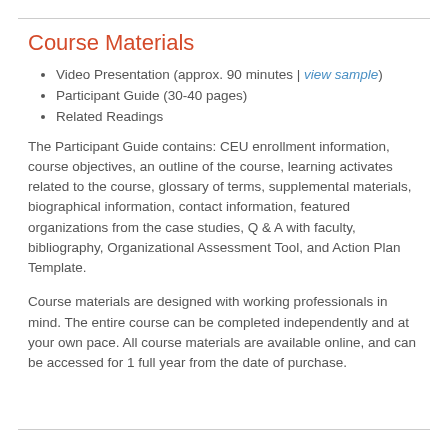Course Materials
Video Presentation (approx. 90 minutes | view sample)
Participant Guide (30-40 pages)
Related Readings
The Participant Guide contains: CEU enrollment information, course objectives, an outline of the course, learning activates related to the course, glossary of terms, supplemental materials, biographical information, contact information, featured organizations from the case studies, Q & A with faculty, bibliography, Organizational Assessment Tool, and Action Plan Template.
Course materials are designed with working professionals in mind. The entire course can be completed independently and at your own pace. All course materials are available online, and can be accessed for 1 full year from the date of purchase.